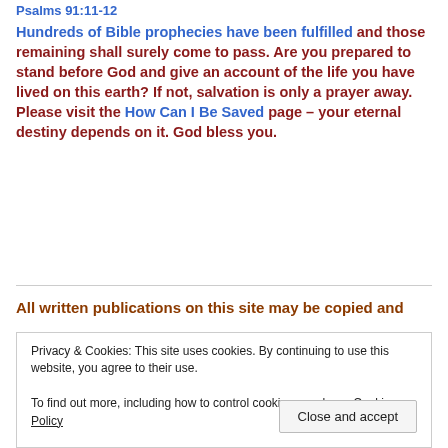Psalms 91:11-12
Hundreds of Bible prophecies have been fulfilled and those remaining shall surely come to pass. Are you prepared to stand before God and give an account of the life you have lived on this earth? If not, salvation is only a prayer away. Please visit the How Can I Be Saved page – your eternal destiny depends on it. God bless you.
All written publications on this site may be copied and
Privacy & Cookies: This site uses cookies. By continuing to use this website, you agree to their use.
To find out more, including how to control cookies, see here: Cookie Policy
Close and accept
God bless you with the Light of the world.